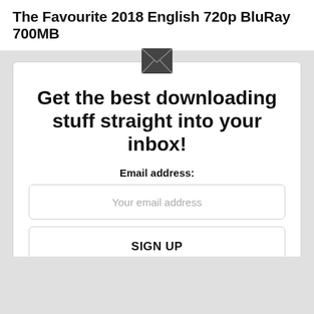The Favourite 2018 English 720p BluRay 700MB
[Figure (illustration): Envelope/mail icon — dark gray closed envelope symbol]
Get the best downloading stuff straight into your inbox!
Email address:
Your email address
SIGN UP
Don't worry, we don't spam -Downloadfury